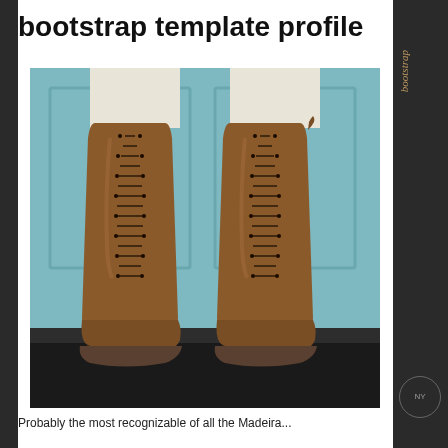bootstrap template profile
[Figure (photo): Pair of tall brown leather lace-up riding boots worn by a person in white breeches, photographed against a blue door background. The boots are knee-high with numerous lace eyelets running up the front, and feature a cap-toe design at the foot.]
Probably the most recognizable of all the Madeira...